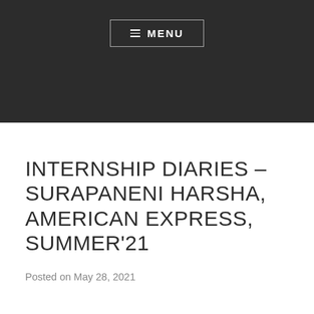≡ MENU
INTERNSHIP DIARIES – SURAPANENI HARSHA, AMERICAN EXPRESS, SUMMER'21
Posted on May 28, 2021